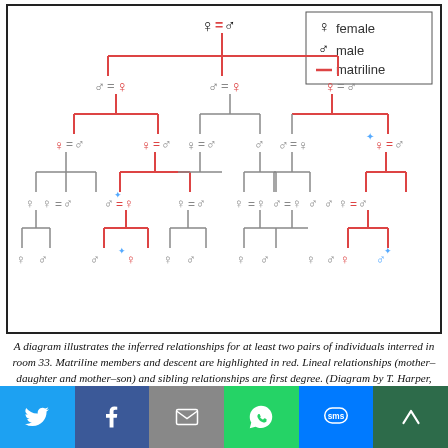[Figure (organizational-chart): A genealogical diagram showing inferred relationships for at least two pairs of individuals interred in room 33. Male and female symbols connected by equals signs represent mated pairs. Red lines indicate matriline descent. Some individuals marked with blue asterisk symbols. A legend in the top-right corner shows female symbol, male symbol, and red line for matriline.]
A diagram illustrates the inferred relationships for at least two pairs of individuals interred in room 33. Matriline members and descent are highlighted in red. Lineal relationships (mother–daughter and mother–son) and sibling relationships are first degree. (Diagram by T. Harper, courtesy Kennett et al., Nature. May not be used without permission.)